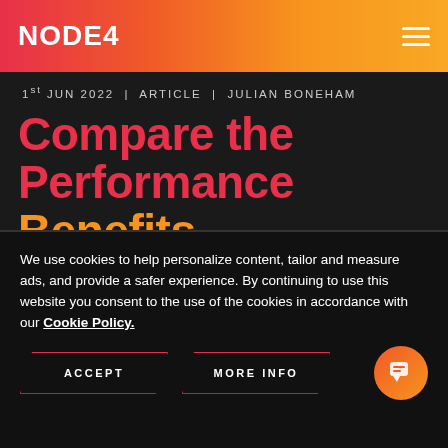NODE4
1st JUN 2022  |  ARTICLE  |  JULIAN BONEHAM
Compare the Performance Benefits of Database Managed Services
We use cookies to help personalize content, tailor and measure ads, and provide a safer experience. By continuing to use this website you consent to the use of the cookies in accordance with our Cookie Policy.
ACCEPT
MORE INFO